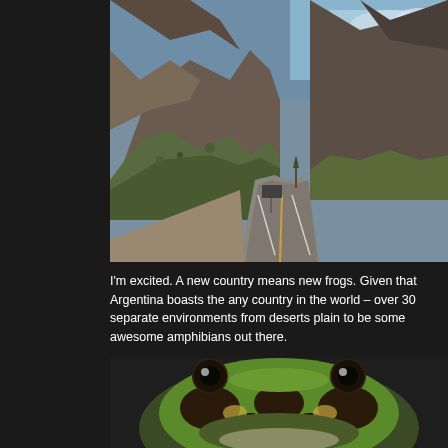[Figure (photo): Mountain road in Argentina winding through rugged Andes landscape with rocky mountains on both sides, asphalt road with yellow center line, road sign visible, sparse vegetation, blue sky with clouds]
I'm excited. A new country means new frogs. Given that Argentina boasts the any country in the world – over 30 separate environments from deserts plain to be some awesome amphibians out there.
[Figure (photo): Close-up photo of a green and brown patterned horned frog (Ceratophrys ornata / Argentine horned frog / Pacman frog) with large eyes, green dorsal coloring with dark brown blotches and yellow/cream patterning, viewed from above]